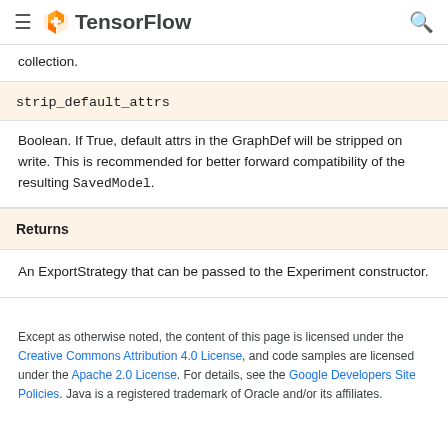TensorFlow
collection.
| strip_default_attrs |
| --- |
| Boolean. If True, default attrs in the GraphDef will be stripped on write. This is recommended for better forward compatibility of the resulting SavedModel. |
Returns
An ExportStrategy that can be passed to the Experiment constructor.
Except as otherwise noted, the content of this page is licensed under the Creative Commons Attribution 4.0 License, and code samples are licensed under the Apache 2.0 License. For details, see the Google Developers Site Policies. Java is a registered trademark of Oracle and/or its affiliates.